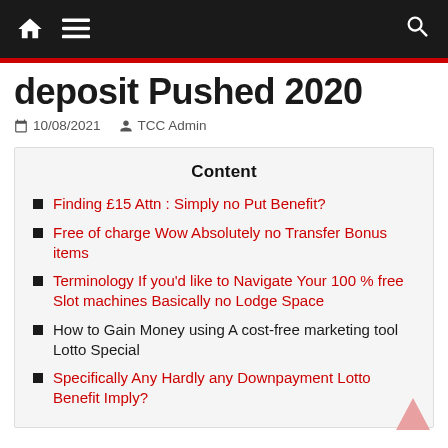Navigation bar with home, menu, and search icons
deposit Pushed 2020
10/08/2021  TCC Admin
Content
Finding £15 Attn : Simply no Put Benefit?
Free of charge Wow Absolutely no Transfer Bonus items
Terminology If you'd like to Navigate Your 100 % free Slot machines Basically no Lodge Space
How to Gain Money using A cost-free marketing tool Lotto Special
Specifically Any Hardly any Downpayment Lotto Benefit Imply?